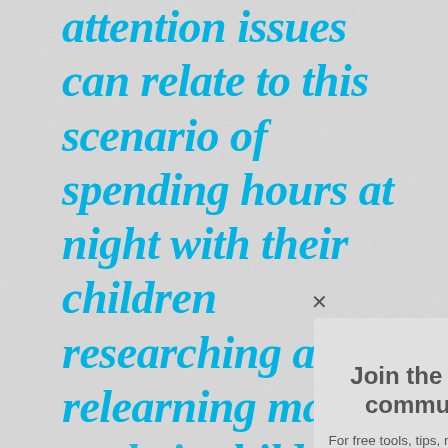attention issues can relate to this scenario of spending hours at night with their children researching and relearning material so their child can stop fighting and receive even passing grades to test the ne...
Join the IMSE community
For free tools, tips, resources and more!
Learn More